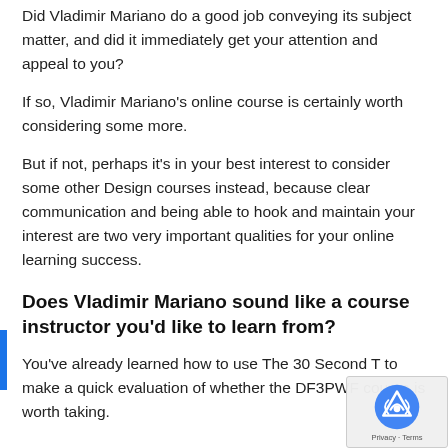Did Vladimir Mariano do a good job conveying its subject matter, and did it immediately get your attention and appeal to you?
If so, Vladimir Mariano's online course is certainly worth considering some more.
But if not, perhaps it's in your best interest to consider some other Design courses instead, because clear communication and being able to hook and maintain your interest are two very important qualities for your online learning success.
Does Vladimir Mariano sound like a course instructor you'd like to learn from?
You've already learned how to use The 30 Second T to make a quick evaluation of whether the DF3PWF course is worth taking.